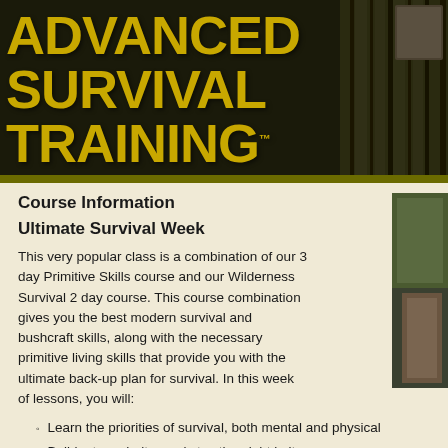[Figure (illustration): Advanced Survival Training logo banner with large distressed gold/yellow text on dark forest background]
Course Information
Ultimate Survival Week
This very popular class is a combination of our 3 day Primitive Skills course and our Wilderness Survival 2 day course. This course combination gives you the best modern survival and bushcraft skills, along with the necessary primitive living skills that provide you with the ultimate back-up plan for survival. In this week of lessons, you will:
Learn the priorities of survival, both mental and physical
Build a tarp shelter and stay the night in it
Learn how to safely collect and purify water with several easy me